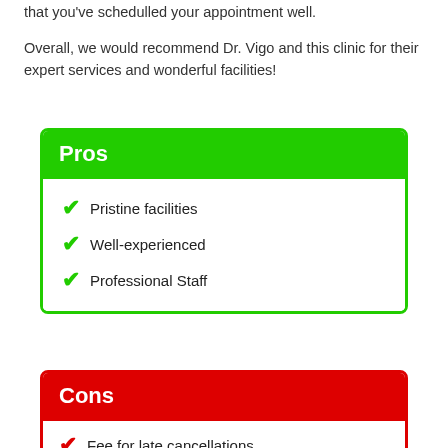that you've schedulled your appointment well.
Overall, we would recommend Dr. Vigo and this clinic for their expert services and wonderful facilities!
Pros
Pristine facilities
Well-experienced
Professional Staff
Cons
Fee for late cancellations